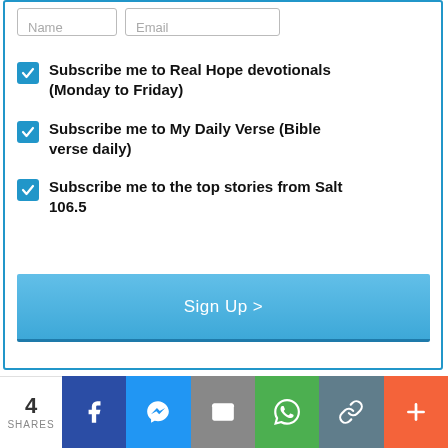[Figure (screenshot): Name input field placeholder]
[Figure (screenshot): Email input field placeholder]
Subscribe me to Real Hope devotionals (Monday to Friday)
Subscribe me to My Daily Verse (Bible verse daily)
Subscribe me to the top stories from Salt 106.5
Sign Up >
4 SHARES
[Figure (infographic): Social share bar with Facebook, Messenger, Email, WhatsApp, Link, and More buttons]